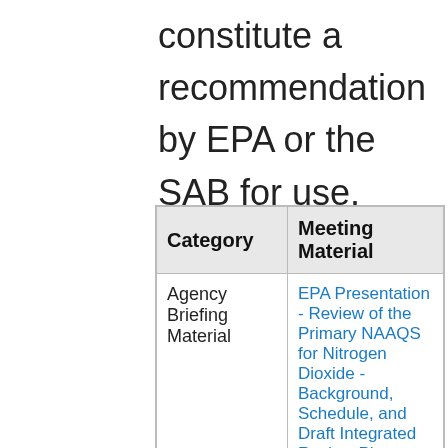constitute a recommendation by EPA or the SAB for use.
| Category | Meeting Material |
| --- | --- |
| Agency Briefing Material | EPA Presentation - Review of the Primary NAAQS for Nitrogen Dioxide - Background, Schedule, and Draft Integrated Review Plan (PDF) |
| ... | EPA... |